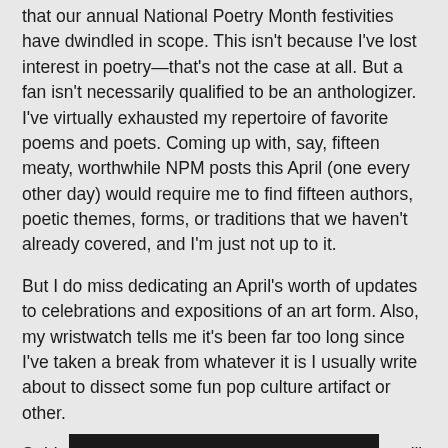that our annual National Poetry Month festivities have dwindled in scope. This isn't because I've lost interest in poetry—that's not the case at all. But a fan isn't necessarily qualified to be an anthologizer. I've virtually exhausted my repertoire of favorite poems and poets. Coming up with, say, fifteen meaty, worthwhile NPM posts this April (one every other day) would require me to find fifteen authors, poetic themes, forms, or traditions that we haven't already covered, and I'm just not up to it.
But I do miss dedicating an April's worth of updates to celebrations and expositions of an art form. Also, my wristwatch tells me it's been far too long since I've taken a break from whatever it is I usually write about to dissect some fun pop culture artifact or other.
So! Instead of National Poetry Month, this year we'll be observing ANIMATION APRIL, starting today. First up, we've got Rooty Toot Toot, United Productions of America's Oscar-nominated 1951 short.
[Figure (other): Dark horizontal bar at the bottom of the page, partial image visible]